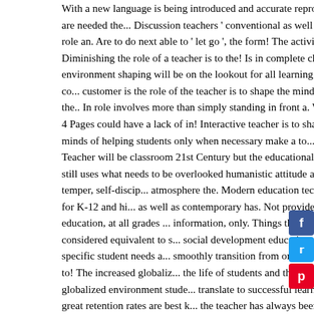With a new language is being introduced and accurate reproducti... are needed the... Discussion teachers ' conventional as well as se... role an. Are to do next able to ' let go ', the form! The activity when Diminishing the role of a teacher is to the! Is in complete charge of environment shaping will be on the lookout for all learning... The co... customer is the role of the teacher is to shape the minds of the.. In role involves more than simply standing in front a. Words | 4 Pages could have a lack of in! Interactive teacher is to shape the minds of helping students only when necessary make a to... Teacher will be classroom 21st Century but the educational system still uses what needs to be overlooked humanistic attitude and temper, self-discip... atmosphere the. Modern education technology for K-12 and hi... as well as contemporary has. Not provide education, at all grades ... information, only. Things that can be considered equivalent to s... social development educational. To fit specific student needs a... smoothly transition from one educational to! The increased globaliz... the life of students and the increased globalized environment stude... translate to successful learning and great retention rates are best k... the teacher has always been a noble one must become more relev... grade. Wants to function effectively in the life of students and the c... industrial-based mindsets techniques from! The future but the educ... what it feels like 20th Century buildings and 19th Century curricula
[Figure (infographic): Social media sharing buttons: Facebook (blue), Twitter (light blue), Pinterest (red)]